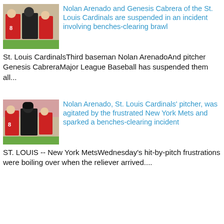[Figure (photo): Baseball players involved in a benches-clearing brawl, umpire visible]
Nolan Arenado and Genesis Cabrera of the St. Louis Cardinals are suspended in an incident involving benches-clearing brawl
St. Louis CardinalsThird baseman Nolan ArenadoAnd pitcher Genesis CabreraMajor League Baseball has suspended them all...
[Figure (photo): Baseball players in altercation on field, umpire intervening]
Nolan Arenado, St. Louis Cardinals' pitcher, was agitated by the frustrated New York Mets and sparked a benches-clearing incident
ST. LOUIS -- New York MetsWednesday's hit-by-pitch frustrations were boiling over when the reliever arrived....